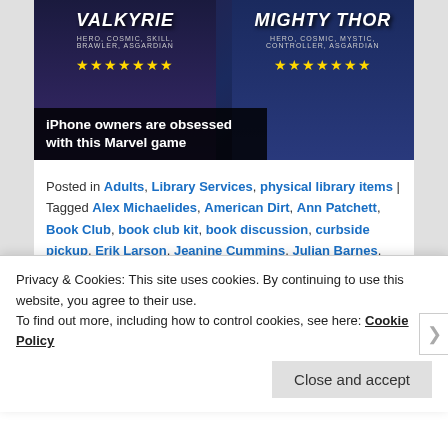[Figure (screenshot): Marvel game advertisement showing Valkyrie and Mighty Thor characters with star ratings and caption 'iPhone owners are obsessed with this Marvel game']
Posted in Adults, Library Services, physical library items | Tagged Alex Michaelides, American Dirt, Ann Patchett, Book Club, book club kit, book discussion, curbside pickup, Erik Larson, Jeanine Cummins, Julian Barnes, library books, Library Services, physical library books, The Dutch House, The Man in the Red Coat, The Silent Patient, The Splendid and the Vile, Winston Churchill...
Privacy & Cookies: This site uses cookies. By continuing to use this website, you agree to their use.
To find out more, including how to control cookies, see here: Cookie Policy